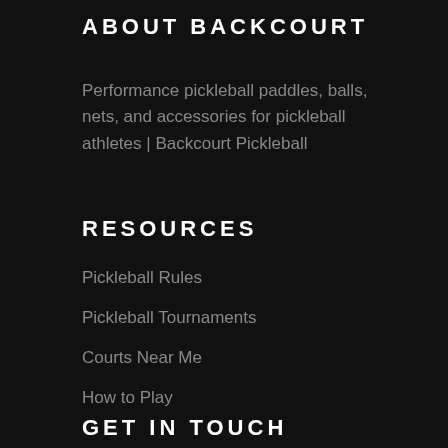ABOUT BACKCOURT
Performance pickleball paddles, balls, nets, and accessories for pickleball athletes | Backcourt Pickleball
RESOURCES
Pickleball Rules
Pickleball Tournaments
Courts Near Me
How to Play
GET IN TOUCH